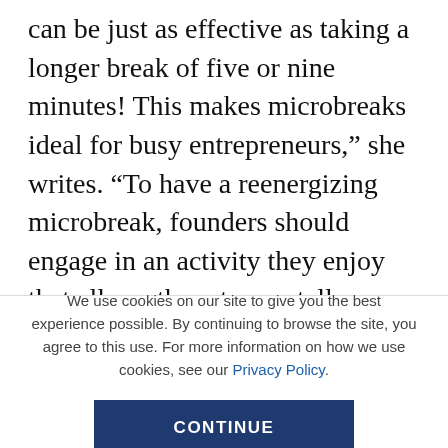can be just as effective as taking a longer break of five or nine minutes! This makes microbreaks ideal for busy entrepreneurs,” she writes. “To have a reenergizing microbreak, founders should engage in an activity they enjoy that allows them to mentally detach from their networking tasks. A microbreak activity could be as simple as watching a funny video on YouTube or reading an engaging article on their phone. What’s important is that founders fully disengage from networking while they do the activity. To effectively
We use cookies on our site to give you the best experience possible. By continuing to browse the site, you agree to this use. For more information on how we use cookies, see our Privacy Policy.
CONTINUE